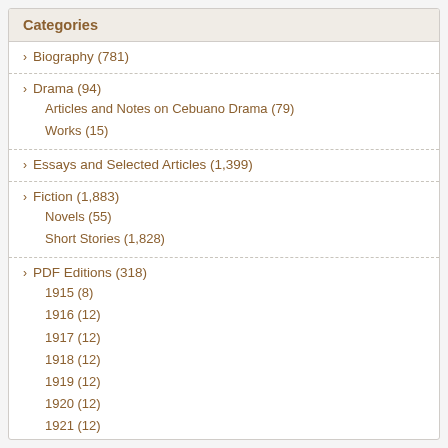Categories
Biography (781)
Drama (94)
Articles and Notes on Cebuano Drama (79)
Works (15)
Essays and Selected Articles (1,399)
Fiction (1,883)
Novels (55)
Short Stories (1,828)
PDF Editions (318)
1915 (8)
1916 (12)
1917 (12)
1918 (12)
1919 (12)
1920 (12)
1921 (12)
1922 (12)
1923 (12)
1924 (12)
1925 (12)